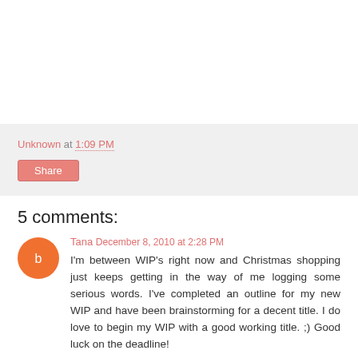Unknown at 1:09 PM
Share
5 comments:
Tana  December 8, 2010 at 2:28 PM
I'm between WIP's right now and Christmas shopping just keeps getting in the way of me logging some serious words. I've completed an outline for my new WIP and have been brainstorming for a decent title. I do love to begin my WIP with a good working title. ;) Good luck on the deadline!
Reply